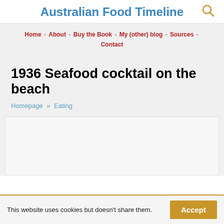Australian Food Timeline
Home - About - Buy the Book - My (other) blog - Sources - Contact
1936 Seafood cocktail on the beach
Homepage » Eating
[Figure (other): Image placeholder area, white/light gray box]
This website uses cookies but doesn't share them.